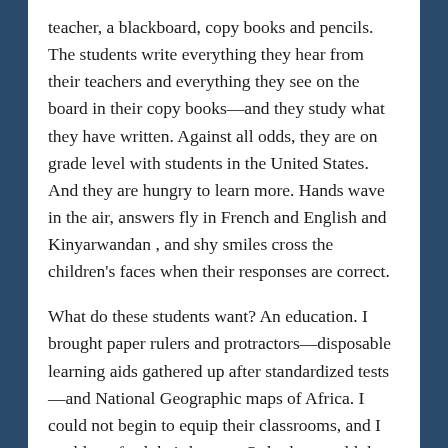teacher, a blackboard, copy books and pencils. The students write everything they hear from their teachers and everything they see on the board in their copy books—and they study what they have written. Against all odds, they are on grade level with students in the United States. And they are hungry to learn more. Hands wave in the air, answers fly in French and English and Kinyarwandan , and shy smiles cross the children's faces when their responses are correct.
What do these students want? An education. I brought paper rulers and protractors—disposable learning aids gathered up after standardized tests —and National Geographic maps of Africa. I could not begin to equip their classrooms, and I could not feed their hunger. Only they could do that.